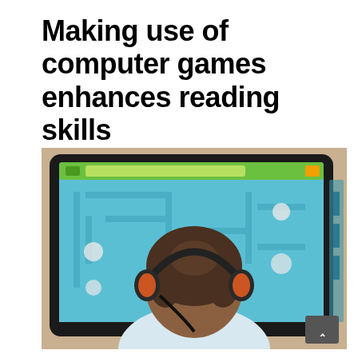Making use of computer games enhances reading skills
[Figure (photo): A child seen from behind wearing headphones and looking at a large tablet/monitor displaying a colorful educational computer game with a maze-like interface on a light blue background.]